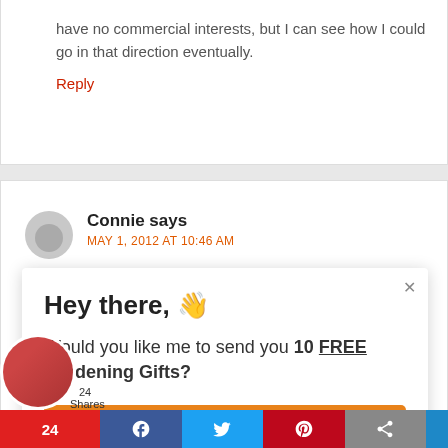have no commercial interests, but I can see how I could go in that direction eventually.
Reply
Connie says
MAY 1, 2012 AT 10:46 AM
Hey there, 👋
Would you like me to send you 10 FREE Gardening Gifts?
YES, PLEASE!
24 Shares